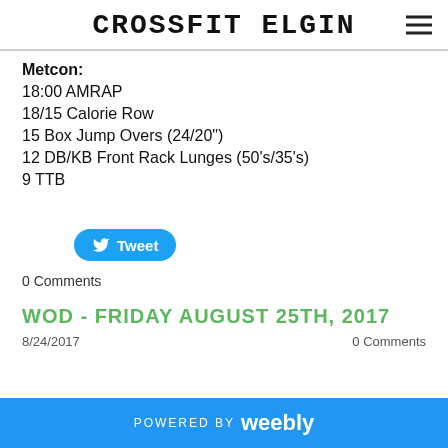CROSSFIT ELGIN
Metcon:
18:00 AMRAP
18/15 Calorie Row
15 Box Jump Overs (24/20")
12 DB/KB Front Rack Lunges (50's/35's)
9 TTB
Tweet
0 Comments
WOD - FRIDAY AUGUST 25TH, 2017
8/24/2017   0 Comments
POWERED BY weebly